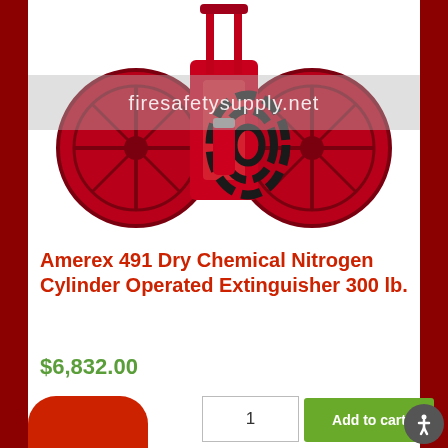[Figure (photo): Amerex 491 large wheeled dry chemical nitrogen cylinder operated fire extinguisher, 300 lb., red with two large spoke wheels and black hose coiled around the body]
Amerex 491 Dry Chemical Nitrogen Cylinder Operated Extinguisher 300 lb.
$6,832.00
1
Add to cart